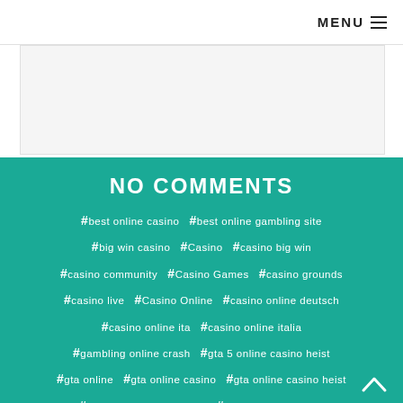MENU ☰
[Figure (other): Advertisement banner area (white/light gray box)]
NO COMMENTS
#best online casino  #best online gambling site
#big win casino  #Casino  #casino big win
#casino community  #Casino Games  #casino grounds
#casino live  #Casino Online  #casino online deutsch
#casino online ita  #casino online italia
#gambling online crash  #gta 5 online casino heist
#gta online  #gta online casino  #gta online casino heist
#jack's gambling channel  #live online gambling
#Online Casino  #online casino big win
#online casino gewinn  #online casino stream